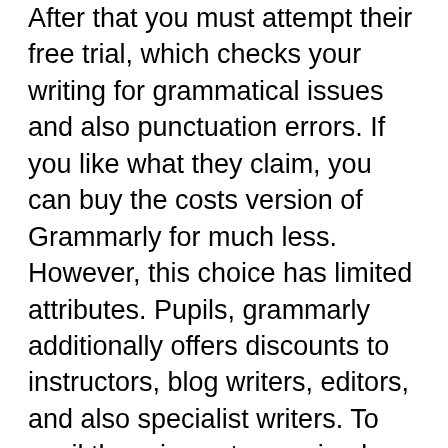After that you must attempt their free trial, which checks your writing for grammatical issues and also punctuation errors. If you like what they claim, you can buy the costs version of Grammarly for much less. However, this choice has limited attributes. Pupils, grammarly additionally offers discounts to instructors, blog writers, editors, and also specialist writers. To avail the price cut, you simply need to see their site as well as click on the ‘Start’ switch. As soon as you do, you will be directed to the option web page where you can choose the strategy that matches your demands.
If you are a pupil, you may want to obtain a discount rate for utilizing Grammarly. There are numerous sites that use trainee price